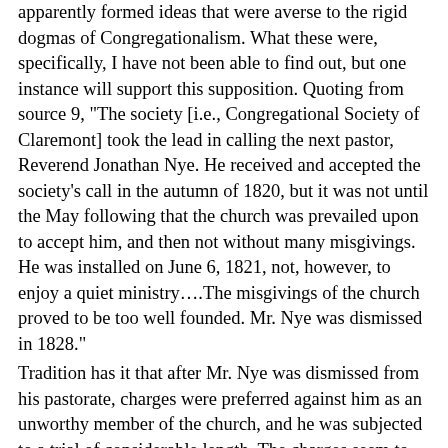apparently formed ideas that were averse to the rigid dogmas of Congregationalism. What these were, specifically, I have not been able to find out, but one instance will support this supposition. Quoting from source 9, "The society [i.e., Congregational Society of Claremont] took the lead in calling the next pastor, Reverend Jonathan Nye. He received and accepted the society's call in the autumn of 1820, but it was not until the May following that the church was prevailed upon to accept him, and then not without many misgivings. He was installed on June 6, 1821, not, however, to enjoy a quiet ministry….The misgivings of the church proved to be too well founded. Mr. Nye was dismissed in 1828."
Tradition has it that after Mr. Nye was dismissed from his pastorate, charges were preferred against him as an unworthy member of the church, and he was subjected to a trial of considerable length. The charges seem to have been substantiated by proof, and Mr. Nye was called upon for any answer which he might have to make. He arose, and in a very cool and